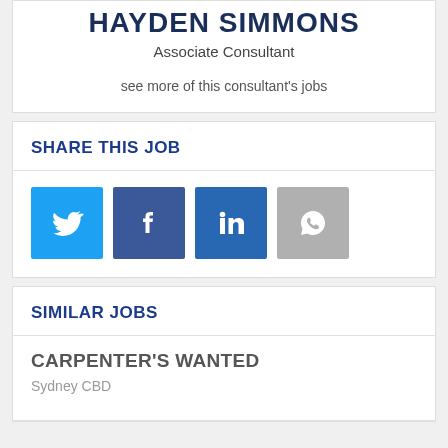HAYDEN SIMMONS
Associate Consultant
see more of this consultant's jobs
SHARE THIS JOB
[Figure (infographic): Social sharing buttons: Twitter (blue), Facebook (dark blue), LinkedIn (blue), WhatsApp (grey)]
SIMILAR JOBS
CARPENTER'S WANTED
Sydney CBD